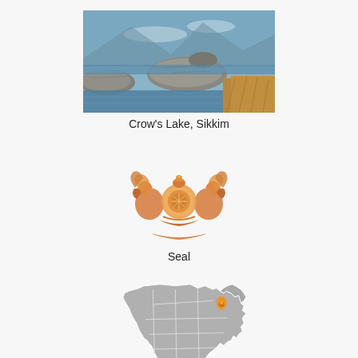[Figure (photo): Photo of Crow's Lake in Sikkim showing rocky shoreline with boulders, clear blue reflective water, and dry golden grass in the foreground]
Crow's Lake, Sikkim
[Figure (illustration): Ornate golden/orange heraldic seal of Sikkim featuring mythological creatures, a central medallion, and decorative elements]
Seal
[Figure (map): Map of India showing states outlined in white on gray background, with Sikkim highlighted in orange in the northeast region]